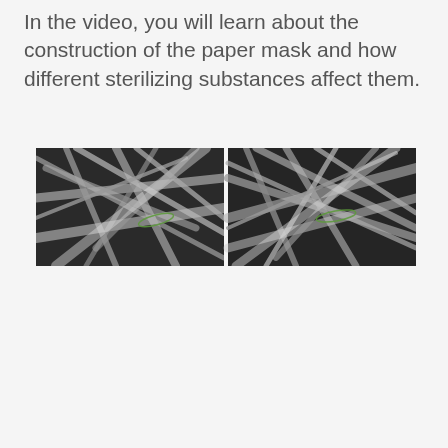In the video, you will learn about the construction of the paper mask and how different sterilizing substances affect them.
[Figure (photo): Two side-by-side microscope images (grayscale/black and white) showing the fibrous construction of a paper mask material. Both images show tangled, overlapping fibers with small green highlights visible. The left image and right image appear to show similar fiber structures at close magnification.]